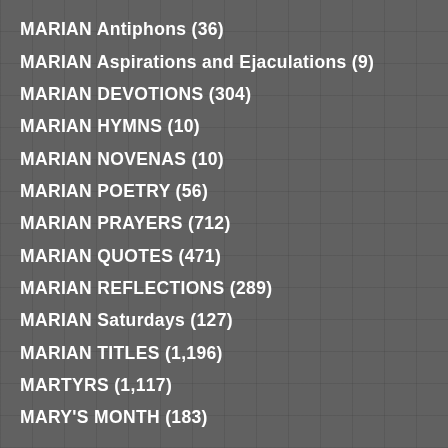MARIAN Antiphons (36)
MARIAN Aspirations and Ejaculations (9)
MARIAN DEVOTIONS (304)
MARIAN HYMNS (10)
MARIAN NOVENAS (10)
MARIAN POETRY (56)
MARIAN PRAYERS (712)
MARIAN QUOTES (471)
MARIAN REFLECTIONS (289)
MARIAN Saturdays (127)
MARIAN TITLES (1,196)
MARTYRS (1,117)
MARY'S MONTH (183)